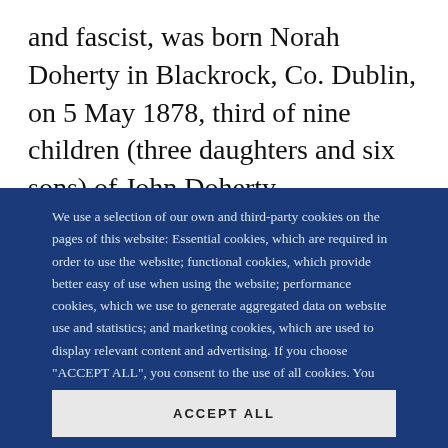and fascist, was born Norah Doherty in Blackrock, Co. Dublin, on 5 May 1878, third of nine children (three daughters and six sons) of John Doherty, businessman, and his wife
We use a selection of our own and third-party cookies on the pages of this website: Essential cookies, which are required in order to use the website; functional cookies, which provide better easy of use when using the website; performance cookies, which we use to generate aggregated data on website use and statistics; and marketing cookies, which are used to display relevant content and advertising. If you choose "ACCEPT ALL", you consent to the use of all cookies. You can accept and
ACCEPT ALL